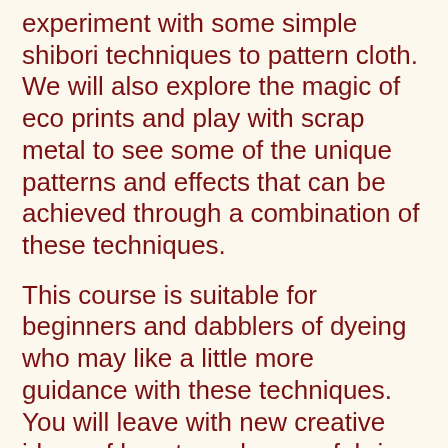experiment with some simple shibori techniques to pattern cloth. We will also explore the magic of eco prints and play with scrap metal to see some of the unique patterns and effects that can be achieved through a combination of these techniques.
This course is suitable for beginners and dabblers of dyeing who may like a little more guidance with these techniques. You will leave with new creative ideas of how to make your fabrics unique and beautiful, using natural dyeing techniques. Great for any textile enthusiast.
A sample pack of fabrics is included in the